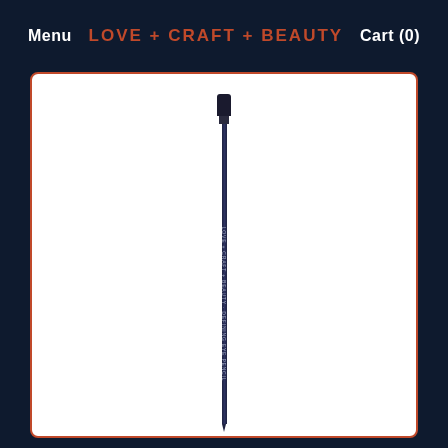Menu  LOVE + CRAFT + BEAUTY  Cart (0)
[Figure (photo): A dark navy blue cosmetic eyeliner pencil standing vertically against a white background, inside a white card with a red/orange border. The pencil has a flat cap at the top and tapers to a point at the bottom. The Love + Craft + Beauty brand name is printed along the pencil shaft.]